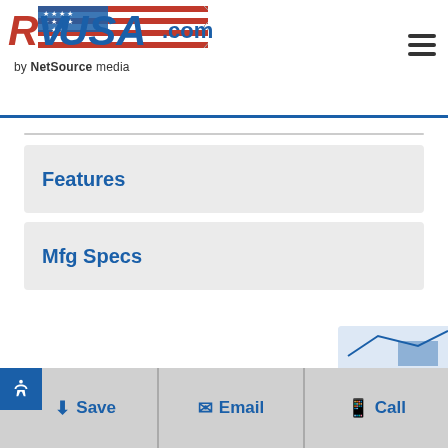[Figure (logo): RVUSA.com by NetSource media logo with American flag, red and blue text]
Features
Mfg Specs
Save | Email | Call